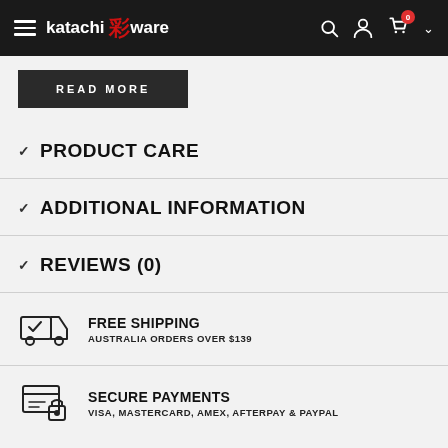katachi 彩 ware — navigation bar with hamburger menu, search, account, cart (0), and dropdown
READ MORE
PRODUCT CARE
ADDITIONAL INFORMATION
REVIEWS (0)
FREE SHIPPING — AUSTRALIA ORDERS OVER $139
SECURE PAYMENTS — VISA, MASTERCARD, AMEX, AFTERPAY & PAYPAL